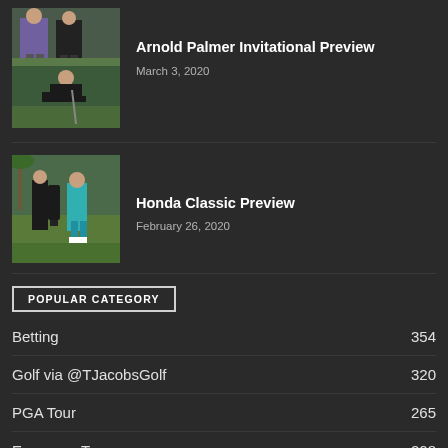[Figure (photo): Two golfers on a golf course, one in purple shirt, one in black]
Arnold Palmer Invitational Preview
March 3, 2020
[Figure (photo): Golfer crouching to read a putt on the green]
[Figure (photo): Two golfers standing on course, one in teal pants with caddie]
Honda Classic Preview
February 26, 2020
POPULAR CATEGORY
Betting 354
Golf via @TJacobsGolf 320
PGA Tour 265
European Tour 208
Golf News 190